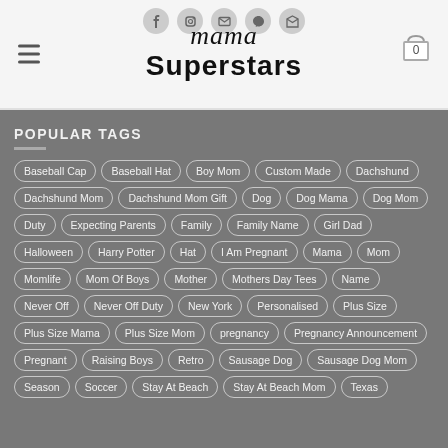[Figure (logo): Mama Superstars website logo with script 'mama' and bold 'Superstars' text]
POPULAR TAGS
Baseball Cap
Baseball Hat
Boy Mom
Custom Made
Dachshund
Dachshund Mom
Dachshund Mom Gift
Dog
Dog Mama
Dog Mom
Duty
Expecting Parents
Family
Family Name
Girl Dad
Halloween
Harry Potter
Hat
I Am Pregnant
Mama
Mom
Momlife
Mom Of Boys
Mother
Mothers Day Tees
Name
Never Off
Never Off Duty
New York
Personalised
Plus Size
Plus Size Mama
Plus Size Mom
pregnancy
Pregnancy Announcement
Pregnant
Raising Boys
Retro
Sausage Dog
Sausage Dog Mom
Season
Soccer
Stay At Beach
Stay At Beach Mom
Texas